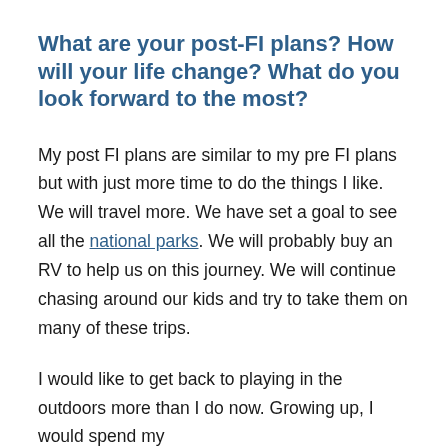What are your post-FI plans? How will your life change? What do you look forward to the most?
My post FI plans are similar to my pre FI plans but with just more time to do the things I like. We will travel more. We have set a goal to see all the national parks. We will probably buy an RV to help us on this journey. We will continue chasing around our kids and try to take them on many of these trips.
I would like to get back to playing in the outdoors more than I do now. Growing up, I would spend my